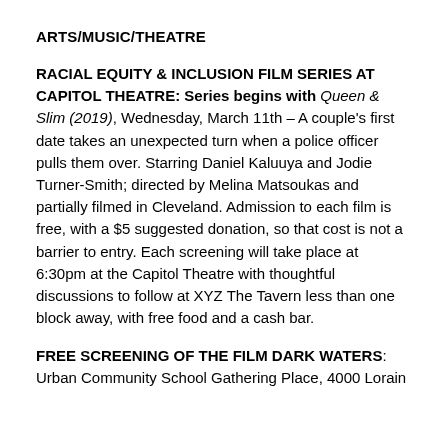ARTS/MUSIC/THEATRE
RACIAL EQUITY & INCLUSION FILM SERIES AT CAPITOL THEATRE: Series begins with Queen & Slim (2019), Wednesday, March 11th – A couple's first date takes an unexpected turn when a police officer pulls them over. Starring Daniel Kaluuya and Jodie Turner-Smith; directed by Melina Matsoukas and partially filmed in Cleveland. Admission to each film is free, with a $5 suggested donation, so that cost is not a barrier to entry. Each screening will take place at 6:30pm at the Capitol Theatre with thoughtful discussions to follow at XYZ The Tavern less than one block away, with free food and a cash bar.
FREE SCREENING OF THE FILM DARK WATERS: Urban Community School Gathering Place, 4000 Lorain